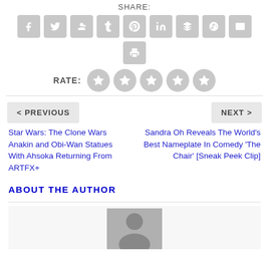SHARE:
[Figure (other): Social share icon buttons: Facebook, Twitter, Google+, Tumblr, Pinterest, LinkedIn, Buffer, StumbleUpon, Email, Print]
RATE:
[Figure (other): Five gray star rating circles]
< PREVIOUS
NEXT >
Star Wars: The Clone Wars Anakin and Obi-Wan Statues With Ahsoka Returning From ARTFX+
Sandra Oh Reveals The World's Best Nameplate In Comedy 'The Chair' [Sneak Peek Clip]
ABOUT THE AUTHOR
[Figure (photo): Author photo thumbnail]